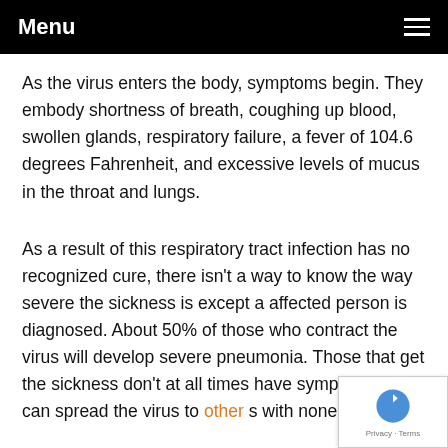Menu
As the virus enters the body, symptoms begin. They embody shortness of breath, coughing up blood, swollen glands, respiratory failure, a fever of 104.6 degrees Fahrenheit, and excessive levels of mucus in the throat and lungs.
As a result of this respiratory tract infection has no recognized cure, there isn't a way to know the way severe the sickness is except a affected person is diagnosed. About 50% of those who contract the virus will develop severe pneumonia. Those that get the sickness don't at all times have symptoms and can spread the virus to other s with none signs.